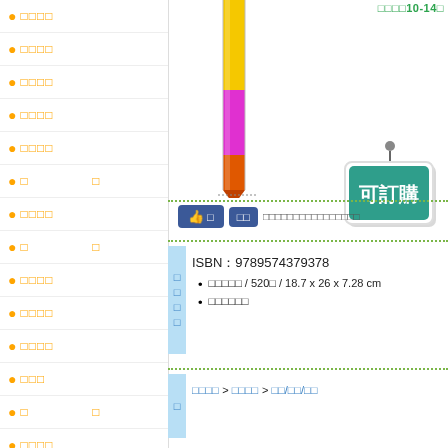●□□□□
●□□□□
●□□□□
●□□□□
●□□□□
●□ □
●□□□□
●□ □
●□□□□
●□□□□
●□□□□
●□□□
●□ □
●□□□□
●□□□□
●□□□□
□□□□10-14□
[Figure (illustration): Colored pencil illustration with yellow, magenta/pink, and orange segments]
[Figure (logo): 可訂購 badge - teal/green square badge with Chinese text meaning available to order, hanging from a round pin]
□ □ □□□□□□□□□□□□□□
ISBN：9789574379378
□□□□□ / 520□ / 18.7 x 26 x 7.28 cm
□□□□□□
□□□□ > □□□□ > □□/□□/□□